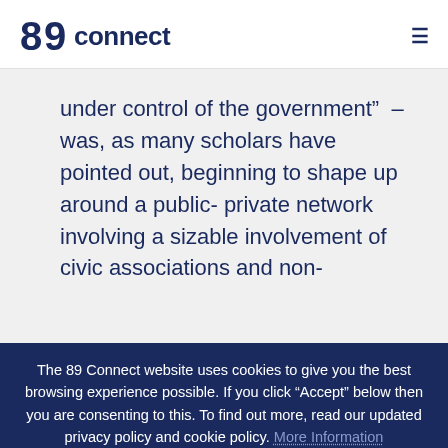[Figure (logo): 89 Connect logo with stylized 89 icon and text 'connect']
under control of the government”  – was, as many scholars have pointed out, beginning to shape up around a public- private network involving a sizable involvement of civic associations and non-
The 89 Connect website uses cookies to give you the best browsing experience possible. If you click "Accept" below then you are consenting to this. To find out more, read our updated privacy policy and cookie policy. More Information
Accept